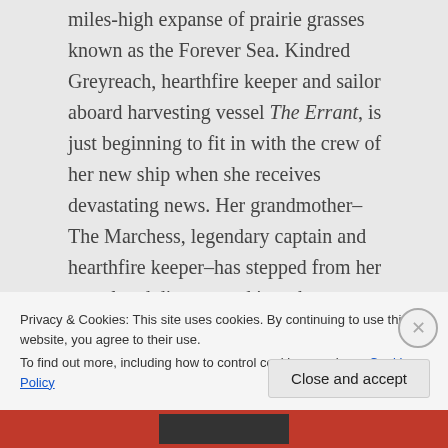miles-high expanse of prairie grasses known as the Forever Sea. Kindred Greyreach, hearthfire keeper and sailor aboard harvesting vessel The Errant, is just beginning to fit in with the crew of her new ship when she receives devastating news. Her grandmother–The Marchess, legendary captain and hearthfire keeper–has stepped from her vessel and disappeared into the sea.
[partial obscured text below]
Privacy & Cookies: This site uses cookies. By continuing to use this website, you agree to their use.
To find out more, including how to control cookies, see here: Cookie Policy
Close and accept